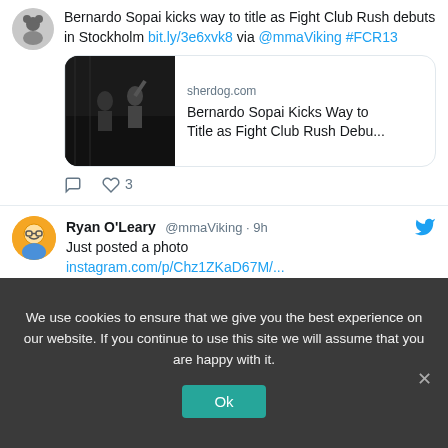Bernardo Sopai kicks way to title as Fight Club Rush debuts in Stockholm bit.ly/3e6xvk8 via @mmaViking #FCR13
[Figure (screenshot): Link preview card for sherdog.com article: Bernardo Sopai Kicks Way to Title as Fight Club Rush Debu...]
3 likes
Ryan O'Leary @mmaViking · 9h
Just posted a photo
instagram.com/p/Chz1ZKaD67M/...
[Figure (screenshot): Partial link preview card for instagram.com showing bottom cropped image]
We use cookies to ensure that we give you the best experience on our website. If you continue to use this site we will assume that you are happy with it.